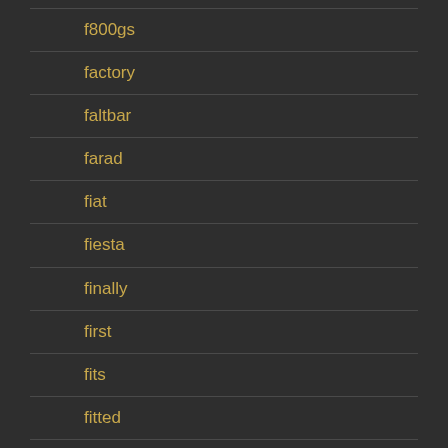f800gs
factory
faltbar
farad
fiat
fiesta
finally
first
fits
fitted
fitting
folding
ford